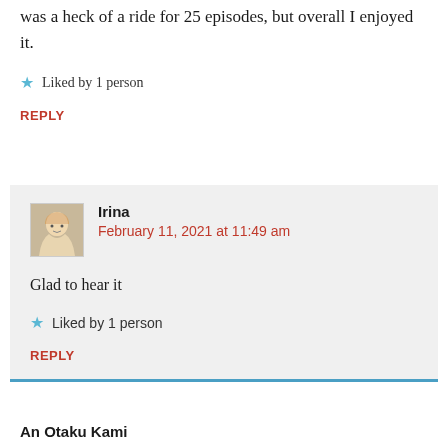was a heck of a ride for 25 episodes, but overall I enjoyed it.
★ Liked by 1 person
REPLY
Irina
February 11, 2021 at 11:49 am
Glad to hear it
★ Liked by 1 person
REPLY
An Otaku Kami